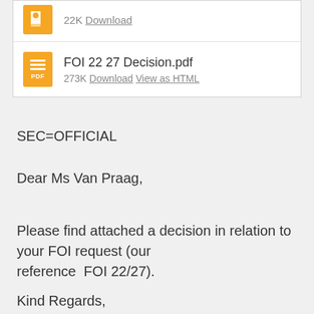[Figure (screenshot): PDF attachment entry: icon + '22K Download' link at top, then second PDF file entry with orange PDF icon, filename 'FOI 22 27 Decision.pdf', '273K Download View as HTML' links]
SEC=OFFICIAL
Dear Ms Van Praag,
Please find attached a decision in relation to your FOI request (our reference  FOI 22/27).
Kind Regards,